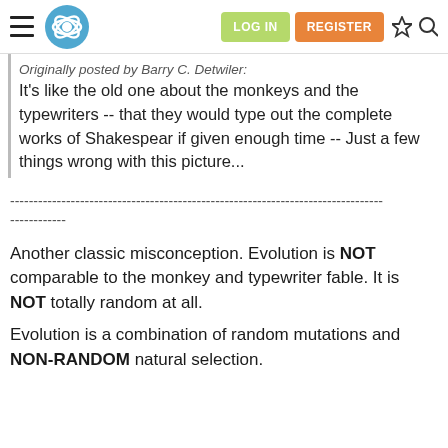LOG IN  REGISTER
Originally posted by Barry C. Detwiler:
It's like the old one about the monkeys and the typewriters -- that they would type out the complete works of Shakespear if given enough time -- Just a few things wrong with this picture...
--------------------------------------------------------------------------------
Another classic misconception. Evolution is NOT comparable to the monkey and typewriter fable. It is NOT totally random at all.
Evolution is a combination of random mutations and NON-RANDOM natural selection.